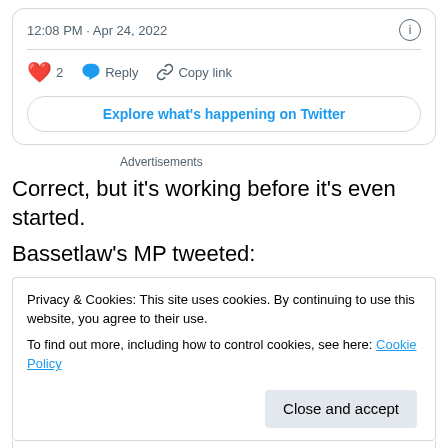12:08 PM · Apr 24, 2022
[Figure (screenshot): Twitter action bar with heart (2 likes), reply button, and copy link button]
Explore what's happening on Twitter
Advertisements
Correct, but it's working before it's even started.
Bassetlaw's MP tweeted:
Privacy & Cookies: This site uses cookies. By continuing to use this website, you agree to their use.
To find out more, including how to control cookies, see here: Cookie Policy
Close and accept
Well done @pritipatel for seeing this through